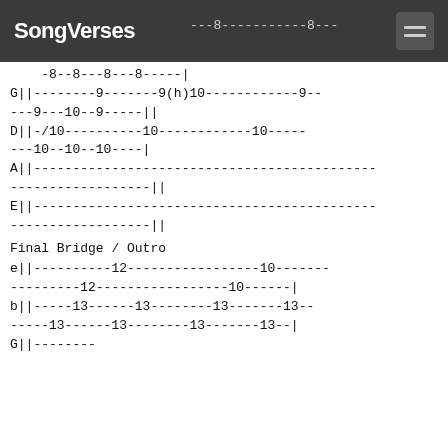SongVerses
-8--8---8---8-----||
G||--------9-------9(h)10------------9----9---10--9-----|
D||-/10----------10------------10--------10--10--10----|
A||--------------------------------------------
------------------|
E||--------------------------------------------
------------------|
Final Bridge / Outro
e||----------12-----------------10--------
---------12-----------------10------|
b||-----13------13--------13-------13--
-----13------13--------13-------13--|
Final Bridge / Outro